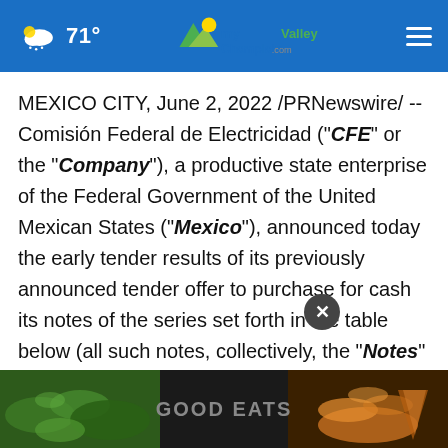71° myChamplainValley.com
MEXICO CITY, June 2, 2022 /PRNewswire/ -- Comisión Federal de Electricidad ("CFE" or the "Company"), a productive state enterprise of the Federal Government of the United Mexican States ("Mexico"), announced today the early tender results of its previously announced tender offer to purchase for cash its notes of the series set forth in the table below (all such notes, collectively, the "Notes" and each a "series" at a purchase price, excluding accrued and unpaid interest, of
[Figure (screenshot): Advertisement overlay showing 'GOOD EATS' text with food images on left (green vegetables) and right (chips/snacks) on dark background, with an X close button]